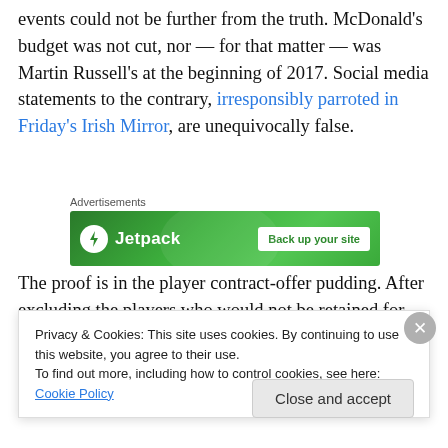Yet, according to authoritative club sources, this version of events could not be further from the truth. McDonald's budget was not cut, nor — for that matter — was Martin Russell's at the beginning of 2017. Social media statements to the contrary, irresponsibly parroted in Friday's Irish Mirror, are unequivocally false.
[Figure (other): Jetpack advertisement banner: green background with Jetpack logo (lightning bolt icon) and 'Back up your site' button]
The proof is in the player contract-offer pudding. After excluding the players who would not be retained for 2018
Privacy & Cookies: This site uses cookies. By continuing to use this website, you agree to their use.
To find out more, including how to control cookies, see here: Cookie Policy
Close and accept